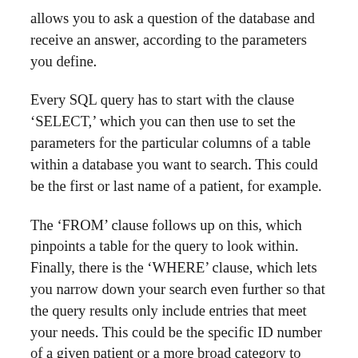allows you to ask a question of the database and receive an answer, according to the parameters you define.
Every SQL query has to start with the clause ‘SELECT,’ which you can then use to set the parameters for the particular columns of a table within a database you want to search. This could be the first or last name of a patient, for example.
The ‘FROM’ clause follows up on this, which pinpoints a table for the query to look within. Finally, there is the ‘WHERE’ clause, which lets you narrow down your search even further so that the query results only include entries that meet your needs. This could be the specific ID number of a given patient or a more broad category to include multiple entries on the table in the results.
Queries are just one part of how SQL works, but hopefully, you can see that the language itself is a surprisingly logical one. The